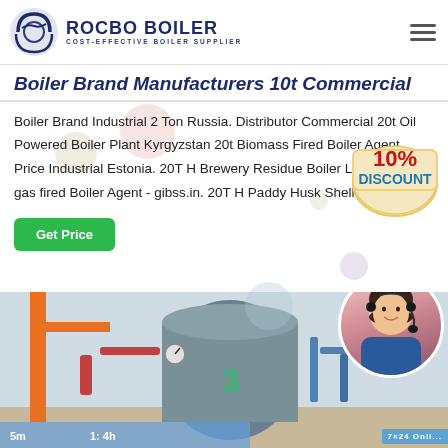ROCBO BOILER - COST-EFFECTIVE BOILER SUPPLIER
Boiler Brand Manufacturers 10t Commercial
Boiler Brand Industrial 2 Ton Russia. Distributor Commercial 20t Oil Powered Boiler Plant Kyrgyzstan 20t Biomass Fired Boiler Agent Price Industrial Estonia. 20T H Brewery Residue Boiler List - … 20t gas fired Boiler Agent - gibss.in. 20T H Paddy Husk Shell boilers …
[Figure (illustration): 10% Discount badge/sticker in red and blue with cream background]
[Figure (photo): Industrial boiler plant interior with orange crane, pipes, pressure gauges, and a large cylindrical boiler tank labeled with number 3]
[Figure (photo): Customer service representative woman with headset smiling, shown in a circular frame overlay on the boiler image]